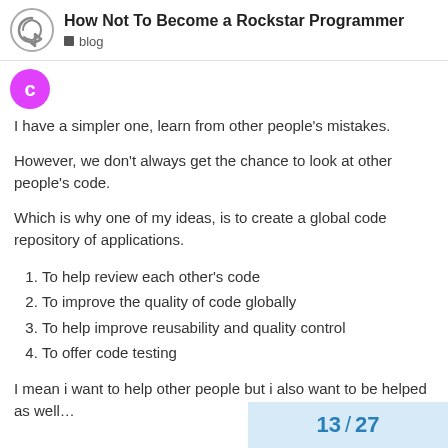How Not To Become a Rockstar Programmer | blog
[Figure (illustration): Pink circular avatar with letter C]
I have a simpler one, learn from other people's mistakes.
However, we don't always get the chance to look at other people's code.
Which is why one of my ideas, is to create a global code repository of applications.
1. To help review each other's code
2. To improve the quality of code globally
3. To help improve reusability and quality control
4. To offer code testing
I mean i want to help other people but i also want to be helped as well…
13 / 27